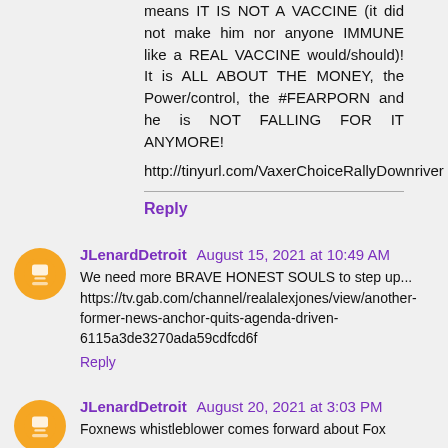means IT IS NOT A VACCINE (it did not make him nor anyone IMMUNE like a REAL VACCINE would/should)! It is ALL ABOUT THE MONEY, the Power/control, the #FEARPORN and he is NOT FALLING FOR IT ANYMORE!
http://tinyurl.com/VaxerChoiceRallyDownriver
Reply
JLenardDetroit  August 15, 2021 at 10:49 AM
We need more BRAVE HONEST SOULS to step up... https://tv.gab.com/channel/realalexjones/view/another-former-news-anchor-quits-agenda-driven-6115a3de3270ada59cdfcd6f
Reply
JLenardDetroit  August 20, 2021 at 3:03 PM
Foxnews whistleblower comes forward about Fox